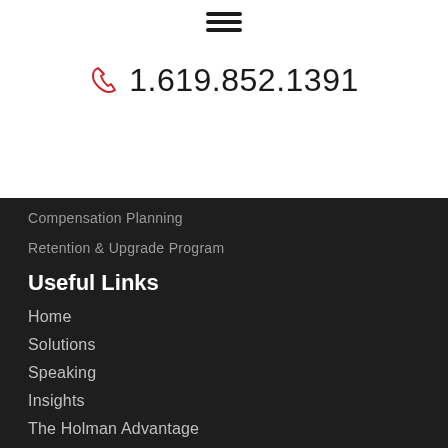[Figure (other): Hamburger menu icon (three horizontal lines)]
1.619.852.1391
Compensation Planning
Retention & Upgrade Program
Useful Links
Home
Solutions
Speaking
Insights
The Holman Advantage
Contact